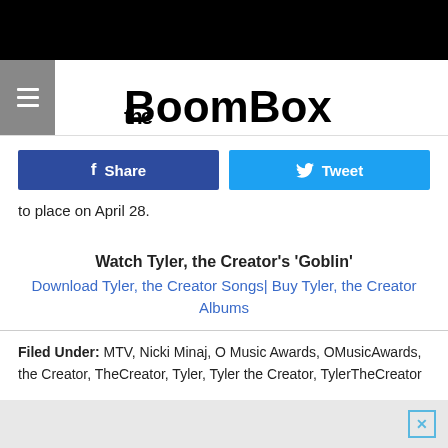[Figure (logo): The Boombox logo in graffiti-style black text on white background with hamburger menu icon on left]
[Figure (infographic): Facebook Share button (dark blue) and Twitter Tweet button (light blue) side by side]
to place on April 28.
Watch Tyler, the Creator's 'Goblin'
Download Tyler, the Creator Songs| Buy Tyler, the Creator Albums
Filed Under: MTV, Nicki Minaj, O Music Awards, OMusicAwards, the Creator, TheCreator, Tyler, Tyler the Creator, TylerTheCreator